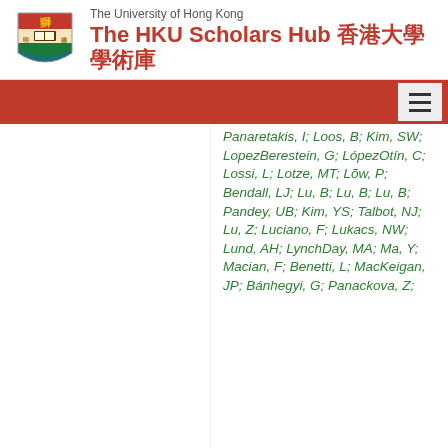The University of Hong Kong — The HKU Scholars Hub 香港大學學術庫
Panaretakis, I; Loos, B; Kim, SW; LopezBerestein, G; LópezOtín, C; Lossi, L; Lotze, MT; Lõw, P; Bendall, LJ; Lu, B; Lu, B; Lu, B; Pandey, UB; Kim, YS; Talbot, NJ; Lu, Z; Luciano, F; Lukacs, NW; Lund, AH; LynchDay, MA; Ma, Y; Macian, F; Benetti, L; MacKeigan, JP; Bánhegyi, G; Panackova, Z;